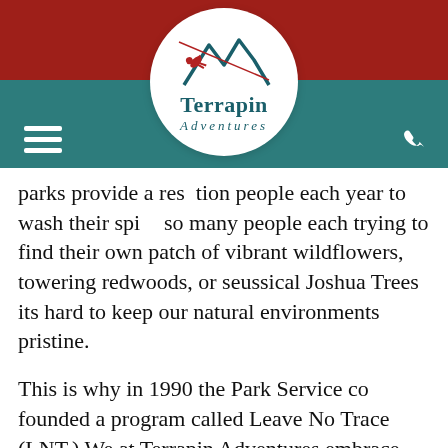[Figure (logo): Terrapin Adventures logo: teal mountain peaks with a red figure zip-lining, text 'Terrapin Adventures' in teal serif font, inside a white circle, set against a red top bar and teal navigation bar with hamburger menu and phone icon]
parks provide a resp tion people each year to wash their spir h so many people each trying to find their own patch of vibrant wildflowers, towering redwoods, or seussical Joshua Trees its hard to keep our natural environments pristine.
This is why in 1990 the Park Service co founded a program called Leave No Trace (LNT.) We at Terrapin Adventures embrace Leave No Trace as a way to keep our wilderness' clean enough to “wash your spirit clean.” The seven basic principles for Leave No Trace are: Plan Ahead and Prepare, Travel and Camp on Durable Surfaces, Dispose of Waste Properly, Leave What You Find,